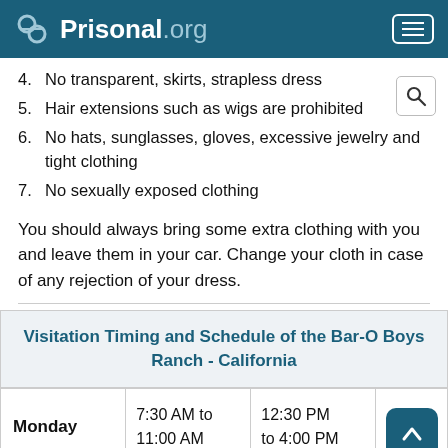Prisonal.org
4. No transparent, skirts, strapless dress
5. Hair extensions such as wigs are prohibited
6. No hats, sunglasses, gloves, excessive jewelry and tight clothing
7. No sexually exposed clothing
You should always bring some extra clothing with you and leave them in your car. Change your cloth in case of any rejection of your dress.
Visitation Timing and Schedule of the Bar-O Boys Ranch - California
|  | Time Slot 1 | Time Slot 2 |
| --- | --- | --- |
| Monday | 7:30 AM to 11:00 AM | 12:30 PM to 4:00 PM |